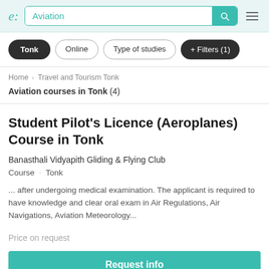e: Aviation [search]
Tonk
Online
Type of studies
+ Filters (1)
Home › Travel and Tourism Tonk
Aviation courses in Tonk (4)
Student Pilot's Licence (Aeroplanes) Course in Tonk
Banasthali Vidyapith Gliding & Flying Club
Course · Tonk
... after undergoing medical examination. The applicant is required to have knowledge and clear oral exam in Air Regulations, Air Navigations, Aviation Meteorology...
Price on request
Request info